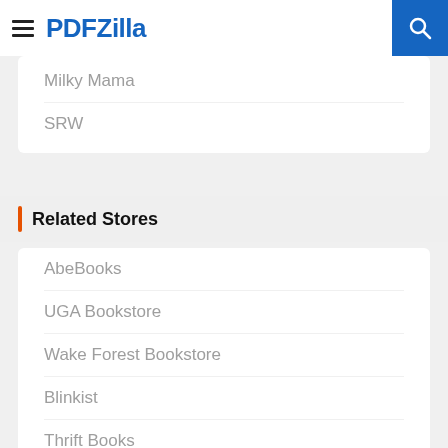PDFZilla
Milky Mama
SRW
Related Stores
AbeBooks
UGA Bookstore
Wake Forest Bookstore
Blinkist
Thrift Books
James Madison University Bookstore
FSU Bookstore
Waterstones